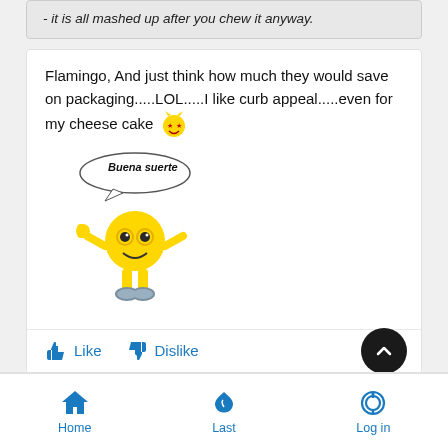- it is all mashed up after you chew it anyway.
Flamingo, And just think how much they would save on packaging.....LOL.....I like curb appeal.....even for my cheese cake 😈
[Figure (illustration): Yellow smiley emoji character with speech bubble saying 'Buena suerte', giving thumbs up, wearing blue shoes]
Like   Dislike
Home   Last   Log in